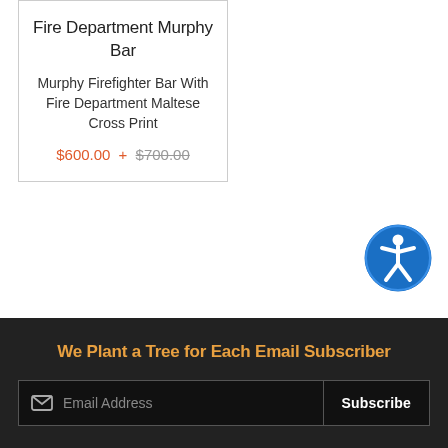Fire Department Murphy Bar
Murphy Firefighter Bar With Fire Department Maltese Cross Print
$600.00 + $700.00
[Figure (illustration): Accessibility icon: blue circle with white universal accessibility figure (person with outstretched arms)]
We Plant a Tree for Each Email Subscriber
Email Address  Subscribe